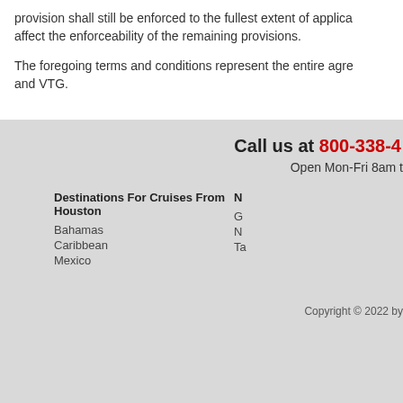provision shall still be enforced to the fullest extent of applica… affect the enforceability of the remaining provisions.
The foregoing terms and conditions represent the entire agre… and VTG.
Call us at 800-338-4...
Open Mon-Fri 8am t...
Destinations For Cruises From Houston
Bahamas
Caribbean
Mexico
N...
G...
N...
Ta...
Copyright © 2022 by...